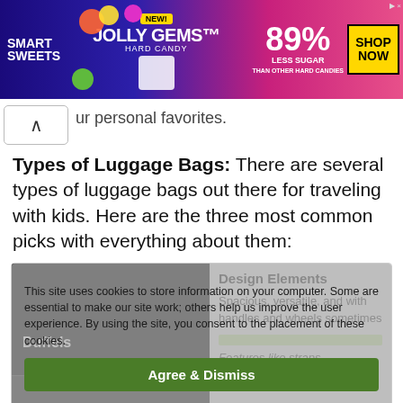[Figure (screenshot): SmartSweets Jolly Gems advertisement banner with candy graphics, '89% less sugar' text and 'Shop Now' yellow button]
ur personal favorites.
Types of Luggage Bags: There are several types of luggage bags out there for traveling with kids. Here are the three most common picks with everything about them:
[Figure (screenshot): Cookie consent overlay partially covering a table. Overlay reads: 'This site uses cookies to store information on your computer. Some are essential to make our site work; others help us improve the user experience. By using the site, you consent to the placement of these cookies.' with 'Agree & Dismiss' green button. Behind the overlay is a table showing luggage bag types with columns including Duffels and Design Elements text.]
Design Elements
Spacious, versatile, and with handles and wheels sometimes
Features like straps